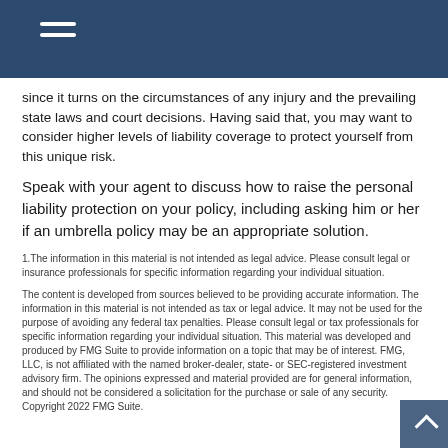since it turns on the circumstances of any injury and the prevailing state laws and court decisions. Having said that, you may want to consider higher levels of liability coverage to protect yourself from this unique risk.
Speak with your agent to discuss how to raise the personal liability protection on your policy, including asking him or her if an umbrella policy may be an appropriate solution.
1.The information in this material is not intended as legal advice. Please consult legal or insurance professionals for specific information regarding your individual situation.
The content is developed from sources believed to be providing accurate information. The information in this material is not intended as tax or legal advice. It may not be used for the purpose of avoiding any federal tax penalties. Please consult legal or tax professionals for specific information regarding your individual situation. This material was developed and produced by FMG Suite to provide information on a topic that may be of interest. FMG, LLC, is not affiliated with the named broker-dealer, state- or SEC-registered investment advisory firm. The opinions expressed and material provided are for general information, and should not be considered a solicitation for the purchase or sale of any security. Copyright 2022 FMG Suite.